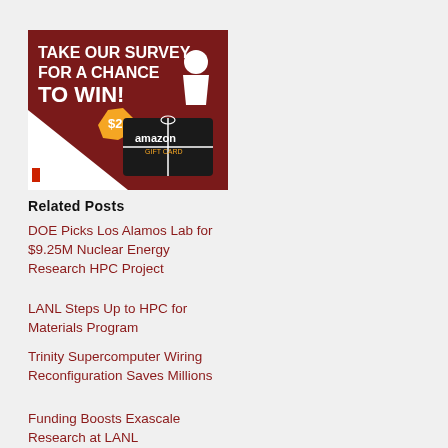[Figure (infographic): InsideHPC survey advertisement banner with dark red background. Text reads 'TAKE OUR SURVEY FOR A CHANCE TO WIN!' with a $200 Amazon Gift Card shown. InsideHPC logo at bottom left.]
Related Posts
DOE Picks Los Alamos Lab for $9.25M Nuclear Energy Research HPC Project
LANL Steps Up to HPC for Materials Program
Trinity Supercomputer Wiring Reconfiguration Saves Millions
Funding Boosts Exascale Research at LANL